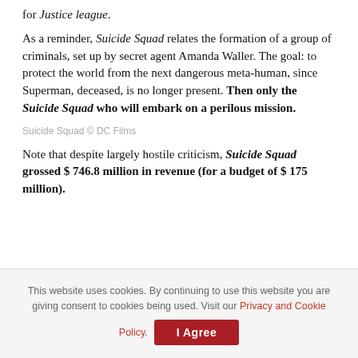for Justice league.
As a reminder, Suicide Squad relates the formation of a group of criminals, set up by secret agent Amanda Waller. The goal: to protect the world from the next dangerous meta-human, since Superman, deceased, is no longer present. Then only the Suicide Squad who will embark on a perilous mission.
Suicide Squad © DC Films
Note that despite largely hostile criticism, Suicide Squad grossed $ 746.8 million in revenue (for a budget of $ 175 million).
This website uses cookies. By continuing to use this website you are giving consent to cookies being used. Visit our Privacy and Cookie Policy.  I Agree